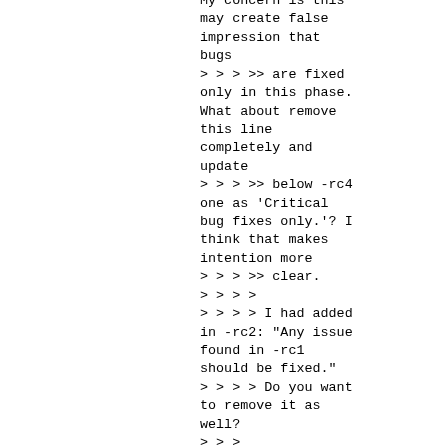My concern is this may create false impression that bugs
> > > >> are fixed only in this phase. What about remove this line completely and update
> > > >> below -rc4 one as 'Critical bug fixes only.'? I think that makes intention more
> > > >> clear.
> > > >
> > > > I had added in -rc2: "Any issue found in -rc1 should be fixed."
> > > > Do you want to remove it as well?
> > >
> > > I think we can keep it, good to highlight one of the major tasks for -rc2 is to